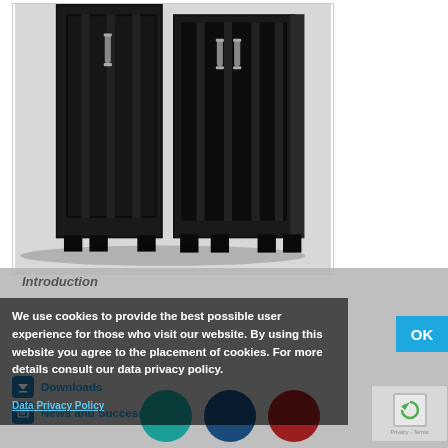[Figure (photo): Photograph of black server rack/cabinet enclosures on a light gray background. Two tall black server cabinets with front door handles visible, standing on leveling feet.]
Introduction
We use cookies to provide the best possible user experience for those who visit our website. By using this website you agree to the placement of cookies. For more details consult our data privacy policy.
Data Privacy Policy
Downloads
News and Success Stories